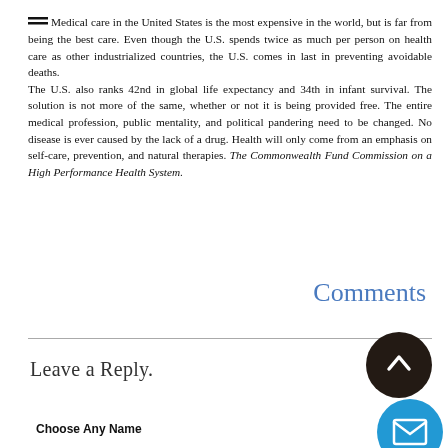Medical care in the United States is the most expensive in the world, but is far from being the best care. Even though the U.S. spends twice as much per person on health care as other industrialized countries, the U.S. comes in last in preventing avoidable deaths. The U.S. also ranks 42nd in global life expectancy and 34th in infant survival. The solution is not more of the same, whether or not it is being provided free. The entire medical profession, public mentality, and political pandering need to be changed. No disease is ever caused by the lack of a drug. Health will only come from an emphasis on self-care, prevention, and natural therapies. The Commonwealth Fund Commission on a High Performance Health System.
Comments
Leave a Reply.
Choose Any Name